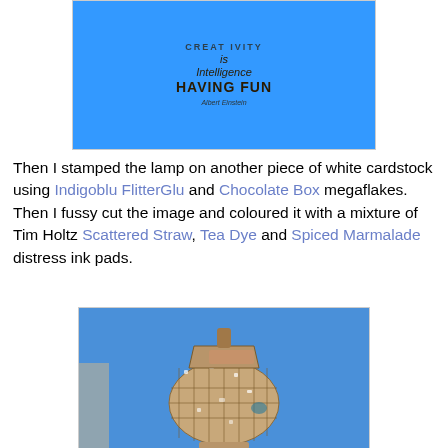[Figure (photo): Photo of a blue cardstock card with dark brown stamped text reading 'Creativity is Intelligence HAVING FUN - Albert Einstein']
Then I stamped the lamp on another piece of white cardstock using Indigoblu FlitterGlu and Chocolate Box megaflakes. Then I fussy cut the image and coloured it with a mixture of Tim Holtz Scattered Straw, Tea Dye and Spiced Marmalade distress ink pads.
[Figure (photo): Close-up photo of a fussy-cut lamp shape stamped on white cardstock with glitter and distress ink, placed on a blue background.]